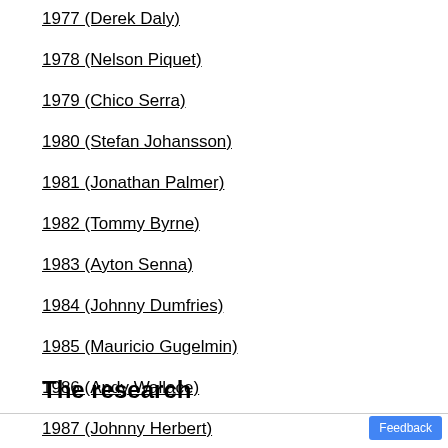1977 (Derek Daly)
1978 (Nelson Piquet)
1979 (Chico Serra)
1980 (Stefan Johansson)
1981 (Jonathan Palmer)
1982 (Tommy Byrne)
1983 (Ayton Senna)
1984 (Johnny Dumfries)
1985 (Mauricio Gugelmin)
1986 (Andy Wallace)
1987 (Johnny Herbert)
The research